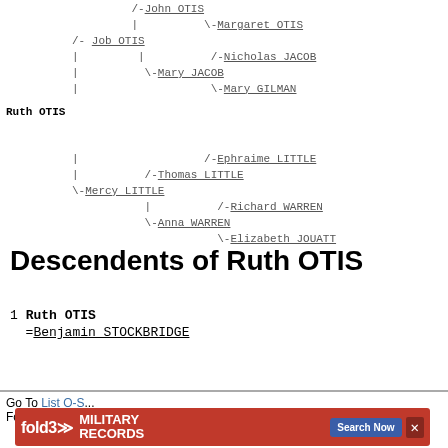[Figure (organizational-chart): Genealogy ancestor tree for Ruth OTIS showing ancestors: Job OTIS (with parents John OTIS and Margaret OTIS, and Mary JACOB with parents Nicholas JACOB and Mary GILMAN), and Mercy LITTLE (with Thomas LITTLE whose parent is Ephraime LITTLE, and Anna WARREN with parents Richard WARREN and Elizabeth JOUATT)]
Descendents of Ruth OTIS
1 Ruth OTIS
  =Benjamin STOCKBRIDGE
Go To List...
For furthe...